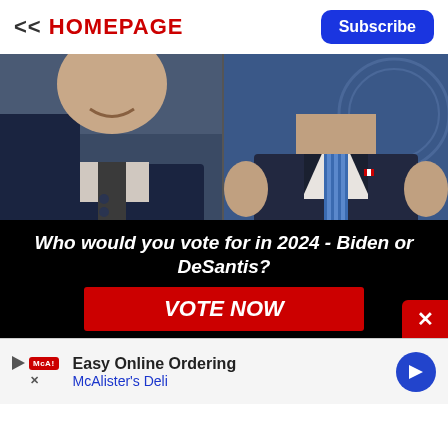<< HOMEPAGE
Subscribe
[Figure (photo): Split photo showing two politicians: on the left, a man in a dark suit smiling; on the right, a man in a dark pinstripe suit with a blue striped tie, gesturing with both hands.]
Who would you vote for in 2024 - Biden or DeSantis?
VOTE NOW
[Figure (other): Advertisement banner for McAlister's Deli with text 'Easy Online Ordering' and 'McAlister's Deli', featuring a play button icon and a blue diamond arrow icon.]